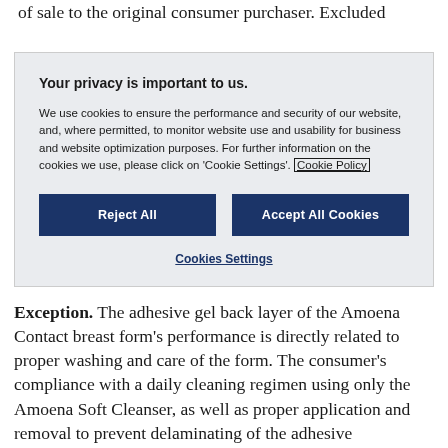of sale to the original consumer purchaser. Excluded
Your privacy is important to us.

We use cookies to ensure the performance and security of our website, and, where permitted, to monitor website use and usability for business and website optimization purposes. For further information on the cookies we use, please click on 'Cookie Settings'. Cookie Policy
Exception. The adhesive gel back layer of the Amoena Contact breast form's performance is directly related to proper washing and care of the form. The consumer's compliance with a daily cleaning regimen using only the Amoena Soft Cleanser, as well as proper application and removal to prevent delaminating of the adhesive